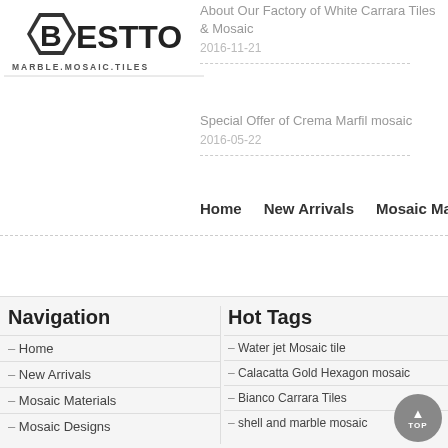[Figure (logo): BESTTO MARBLE.MOSAIC.TILES logo with hexagon B icon]
About Our Factory of White Carrara Tiles & Mosaic
2016-11-21
Special Offer of Crema Marfil mosaic
2016-05-22
Home   New Arrivals   Mosaic Mate...
Navigation
Home
New Arrivals
Mosaic Materials
Mosaic Designs
Hot Tags
Water jet Mosaic tile
Calacatta Gold Hexagon mosaic
Bianco Carrara Tiles
shell and marble mosaic